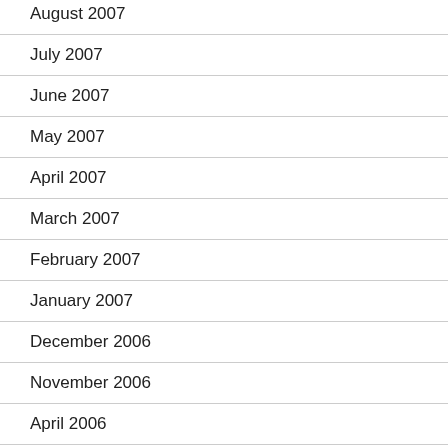August 2007
July 2007
June 2007
May 2007
April 2007
March 2007
February 2007
January 2007
December 2006
November 2006
April 2006
March 2006